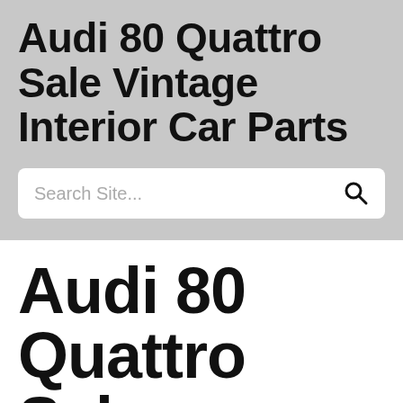Audi 80 Quattro Sale Vintage Interior Car Parts
Search Site...
Audi 80 Quattro Sale